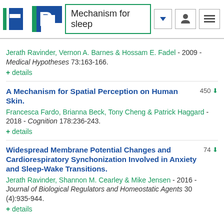Mechanism for sleep
Jerath Ravinder, Vernon A. Barnes & Hossam E. Fadel - 2009 - Medical Hypotheses 73:163-166.
+ details
A Mechanism for Spatial Perception on Human Skin.
Francesca Fardo, Brianna Beck, Tony Cheng & Patrick Haggard - 2018 - Cognition 178:236-243.
+ details
Widespread Membrane Potential Changes and Cardiorespiratory Synchonization Involved in Anxiety and Sleep-Wake Transitions.
Jerath Ravinder, Shannon M. Cearley & Mike Jensen - 2016 - Journal of Biological Regulators and Homeostatic Agents 30 (4):935-944.
+ details